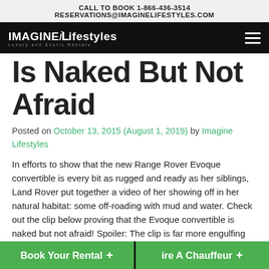CALL TO BOOK 1-866-436-3514
RESERVATIONS@IMAGINELIFESTYLES.COM
[Figure (logo): Imagine Lifestyles logo on black navigation bar with hamburger menu icon]
Is Naked But Not Afraid
Posted on October 13, 2015 (August 1, 2019) by Imagine Lifestyles
In efforts to show that the new Range Rover Evoque convertible is every bit as rugged and ready as her siblings, Land Rover put together a video of her showing off in her natural habitat: some off-roading with mud and water. Check out the clip below proving that the Evoque convertible is naked but not afraid! Spoiler: The clip is far more engulfing and entertaining than the unfortunate television series ‘Naked and Afraid’.
Book Your Rental +   Hire A Chauffeur +